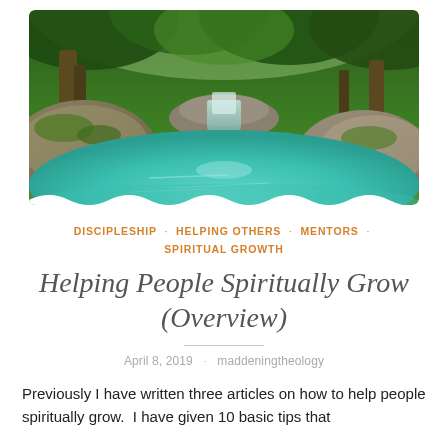[Figure (photo): Lush green forest with a turquoise pool and waterfall, tropical nature scene]
DISCIPLESHIP · HELPING OTHERS · MENTORS · SPIRITUAL GROWTH
Helping People Spiritually Grow (Overview)
April 8, 2019 · maddeningtheology
Previously I have written three articles on how to help people spiritually grow.  I have given 10 basic tips that